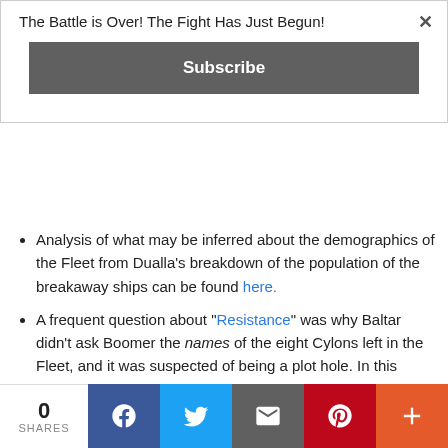The Battle is Over! The Fight Has Just Begun!
Subscribe
Analysis of what may be inferred about the demographics of the Fleet from Dualla's breakdown of the population of the breakaway ships can be found here.
A frequent question about "Resistance" was why Baltar didn't ask Boomer the names of the eight Cylons left in the Fleet, and it was suspected of being a plot hole. In this episode, Baltar is shown regretting not asking her the identity of the other eight Cylons. Perhaps he only had enough time to ask her one question and still
0 SHARES  [Facebook] [Twitter] [Email] [Pinterest] [More]